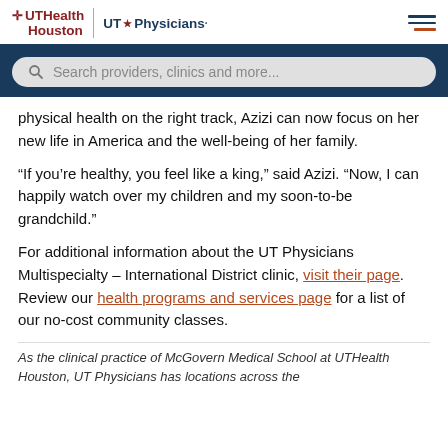UTHealth Houston | UT Physicians
[Figure (screenshot): Search bar with placeholder text: Search providers, clinics and more...]
physical health on the right track, Azizi can now focus on her new life in America and the well-being of her family.
“If you’re healthy, you feel like a king,” said Azizi. “Now, I can happily watch over my children and my soon-to-be grandchild.”
For additional information about the UT Physicians Multispecialty – International District clinic, visit their page. Review our health programs and services page for a list of our no-cost community classes.
As the clinical practice of McGovern Medical School at UTHealth Houston, UT Physicians has locations across the